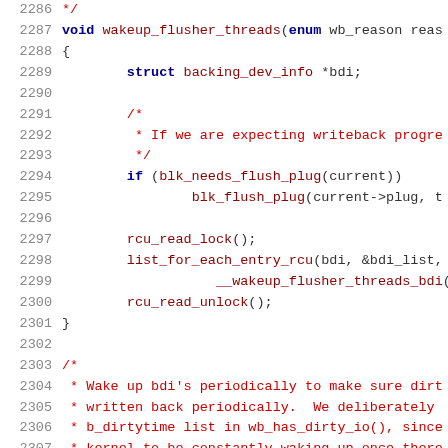[Figure (screenshot): Source code viewer showing C code lines 2286-2307, with line numbers on the left in gray, keywords in dark blue bold, comments in red, and function names in dark red monospace font.]